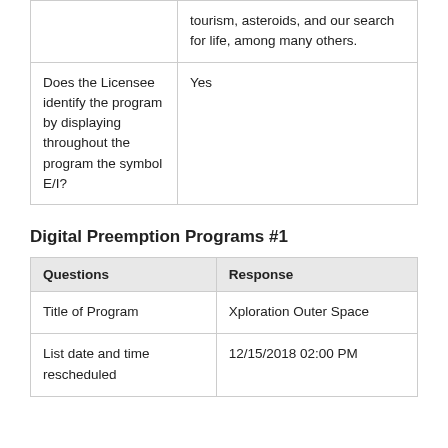| Questions | Response |
| --- | --- |
|  | tourism, asteroids, and our search for life, among many others. |
| Does the Licensee identify the program by displaying throughout the program the symbol E/I? | Yes |
Digital Preemption Programs #1
| Questions | Response |
| --- | --- |
| Title of Program | Xploration Outer Space |
| List date and time rescheduled | 12/15/2018 02:00 PM |